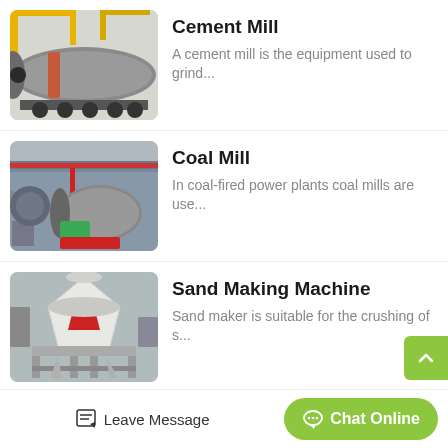Cement Mill — A cement mill is the equipment used to grind...
Coal Mill — In coal-fired power plants coal mills are use...
Sand Making Machine — Sand maker is suitable for the crushing of s...
Raymond Mill